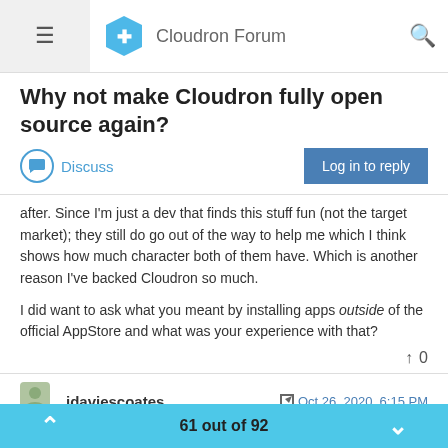Cloudron Forum
Why not make Cloudron fully open source again?
Discuss
after. Since I'm just a dev that finds this stuff fun (not the target market); they still do go out of the way to help me which I think shows how much character both of them have. Which is another reason I've backed Cloudron so much.
I did want to ask what you meant by installing apps outside of the official AppStore and what was your experience with that?
jdaviescoates
Oct 26, 2020, 6:15 PM
@nilesh said in Why not make Cloudron fully open source again?:
61 out of 92